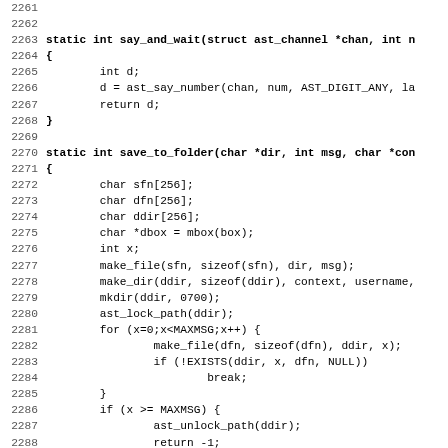[Figure (other): Source code listing showing C functions say_and_wait and save_to_folder with line numbers 2261-2292+]